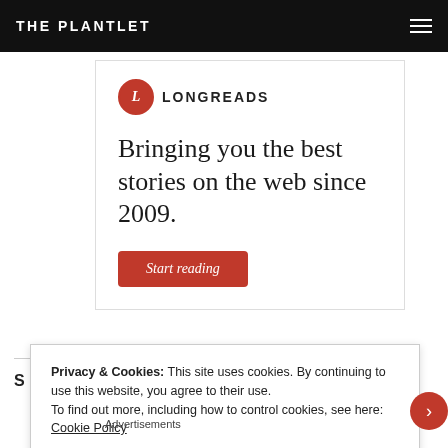THE PLANTLET
[Figure (logo): Longreads logo: red circle with L, text LONGREADS]
Bringing you the best stories on the web since 2009.
Start reading
S
Privacy & Cookies: This site uses cookies. By continuing to use this website, you agree to their use.
To find out more, including how to control cookies, see here: Cookie Policy
Close and accept
Advertisements